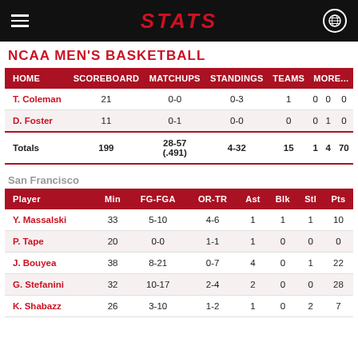STATS
NCAA MEN'S BASKETBALL
| HOME | SCOREBOARD | MATCHUPS | STANDINGS | TEAMS | MORE... |
| --- | --- | --- | --- | --- | --- |
| T. Coleman | 21 | 0-0 | 0-3 | 1 | 0 | 0 | 0 |
| D. Foster | 11 | 0-1 | 0-0 | 0 | 0 | 1 | 0 |
| Totals | 199 | 28-57 (.491) | 4-32 | 15 | 1 | 4 | 70 |
San Francisco
| Player | Min | FG-FGA | OR-TR | Ast | Blk | Stl | Pts |
| --- | --- | --- | --- | --- | --- | --- | --- |
| Y. Massalski | 33 | 5-10 | 4-6 | 1 | 1 | 1 | 10 |
| P. Tape | 20 | 0-0 | 1-1 | 1 | 0 | 0 | 0 |
| J. Bouyea | 38 | 8-21 | 0-7 | 4 | 0 | 1 | 22 |
| G. Stefanini | 32 | 10-17 | 2-4 | 2 | 0 | 0 | 28 |
| K. Shabazz | 26 | 3-10 | 1-2 | 1 | 0 | 2 | 7 |